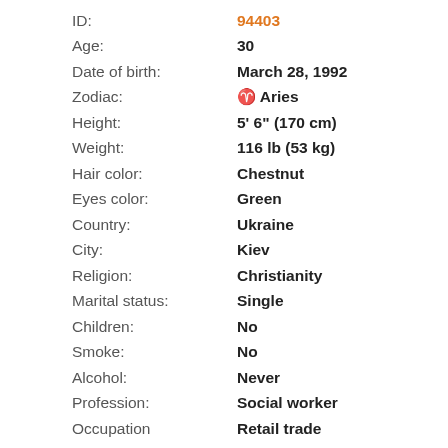ID: 94403
Age: 30
Date of birth: March 28, 1992
Zodiac: ♈ Aries
Height: 5' 6" (170 cm)
Weight: 116 lb (53 kg)
Hair color: Chestnut
Eyes color: Green
Country: Ukraine
City: Kiev
Religion: Christianity
Marital status: Single
Children: No
Smoke: No
Alcohol: Never
Profession: Social worker
Occupation: Retail trade
Education: Higher unfinished
English: University...